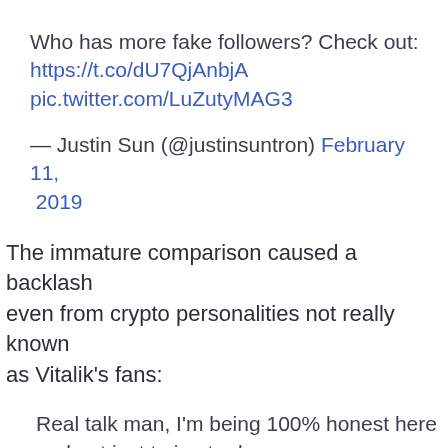Who has more fake followers? Check out: https://t.co/dU7QjAnbjA pic.twitter.com/LuZutyMAG3
— Justin Sun (@justinsuntron) February 11, 2019
The immature comparison caused a backlash even from crypto personalities not really known as Vitalik's fans:
Real talk man, I'm being 100% honest here and not just trying to drag you:
This is a really bad look from Western POV.